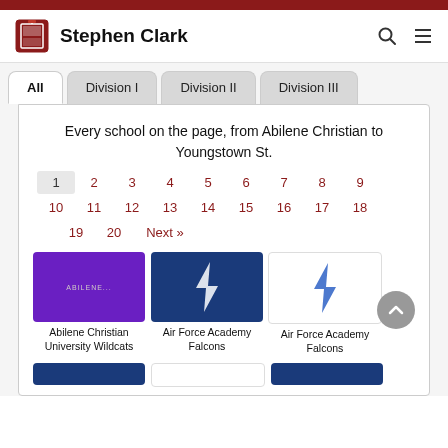Stephen Clark
All | Division I | Division II | Division III
Every school on the page, from Abilene Christian to Youngstown St.
1 2 3 4 5 6 7 8 9 10 11 12 13 14 15 16 17 18 19 20 Next »
[Figure (screenshot): Three school logo cards: Abilene Christian University Wildcats (purple background), Air Force Academy Falcons (navy blue, lightning bolt), Air Force Academy Falcons (white background, lightning bolt)]
Abilene Christian University Wildcats
Air Force Academy Falcons
Air Force Academy Falcons